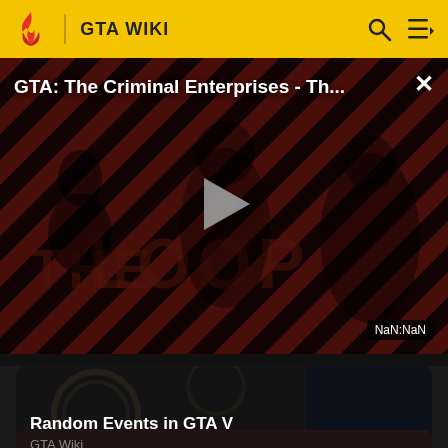GTA WIKI
[Figure (screenshot): Video player showing 'GTA: The Criminal Enterprises - Th...' with play button overlay, diagonal red/dark striped background with character silhouettes, 'THE LOOP' text watermark, NaN:NaN duration badge, and close X button]
[Figure (screenshot): Thumbnail card for 'Random Events in GTA V' article on GTA Wiki, showing dark stylized GTA art background]
[Figure (screenshot): Partial thumbnail card at bottom of page, partially visible]